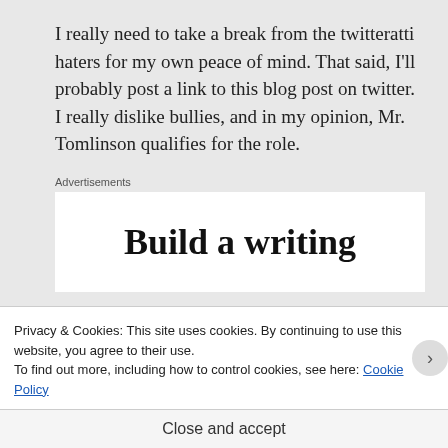I really need to take a break from the twitteratti haters for my own peace of mind. That said, I'll probably post a link to this blog post on twitter. I really dislike bullies, and in my opinion, Mr. Tomlinson qualifies for the role.
Advertisements
[Figure (other): Advertisement box with partial text 'Build a writing']
Privacy & Cookies: This site uses cookies. By continuing to use this website, you agree to their use.
To find out more, including how to control cookies, see here: Cookie Policy
Close and accept